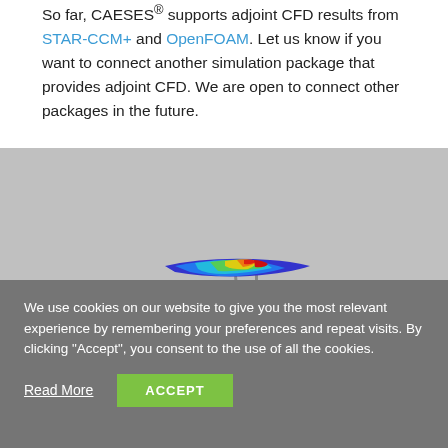So far, CAESES® supports adjoint CFD results from STAR-CCM+ and OpenFOAM. Let us know if you want to connect another simulation package that provides adjoint CFD. We are open to connect other packages in the future.
[Figure (photo): 3D rendering of a sports car (grey) with a rear wing showing a CFD adjoint sensitivity map in heat-map colors (blue to red), viewed from a front-top-left perspective.]
We use cookies on our website to give you the most relevant experience by remembering your preferences and repeat visits. By clicking "Accept", you consent to the use of all the cookies.
Read More
ACCEPT